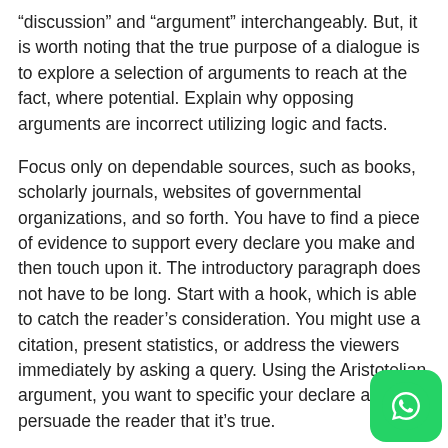“discussion” and “argument” interchangeably. But, it is worth noting that the true purpose of a dialogue is to explore a selection of arguments to reach at the fact, where potential. Explain why opposing arguments are incorrect utilizing logic and facts.
Focus only on dependable sources, such as books, scholarly journals, websites of governmental organizations, and so forth. You have to find a piece of evidence to support every declare you make and then touch upon it. The introductory paragraph does not have to be long. Start with a hook, which is able to catch the reader’s consideration. You might use a citation, present statistics, or address the viewers immediately by asking a query. Using the Aristotelian argument, you want to specific your declare and persuade the reader that it’s true.